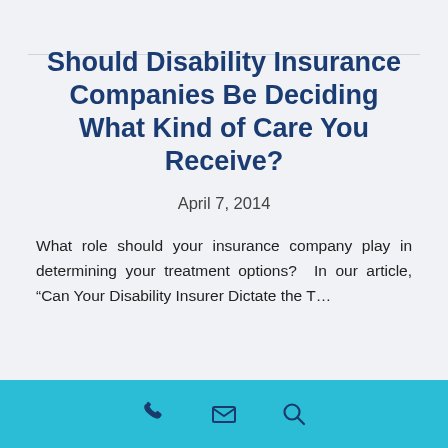Should Disability Insurance Companies Be Deciding What Kind of Care You Receive?
April 7, 2014
What role should your insurance company play in determining your treatment options?  In our article, “Can Your Disability Insurer Dictate the T…
Phone | Mail | Search icons